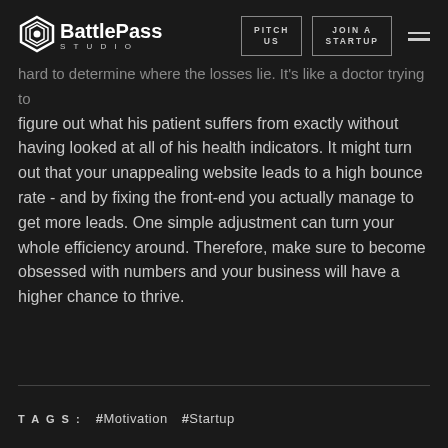BattlePass Studio | PITCH US | JOIN A STARTUP
hard to determine where the losses lie. It's like a doctor trying to figure out what his patient suffers from exactly without having looked at all of his health indicators. It might turn out that your unappealing website leads to a high bounce rate - and by fixing the front-end you actually manage to get more leads. One simple adjustment can turn your whole efficiency around. Therefore, make sure to become obsessed with numbers and your business will have a higher chance to thrive.
TAGS : #Motivation #Startup